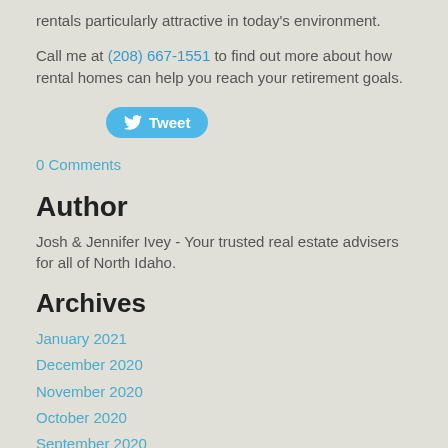rentals particularly attractive in today's environment.
Call me at (208) 667-1551 to find out more about how rental homes can help you reach your retirement goals.
[Figure (other): Twitter Tweet button]
0 Comments
Author
Josh & Jennifer Ivey - Your trusted real estate advisers for all of North Idaho.
Archives
January 2021
December 2020
November 2020
October 2020
September 2020
August 2020
July 2020